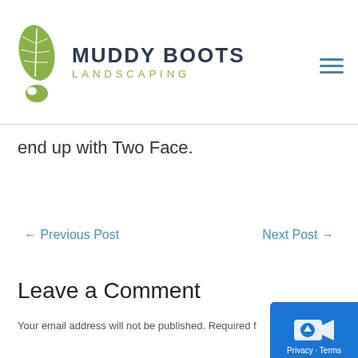[Figure (logo): Muddy Boots Landscaping logo with a green leaf and boot print illustration, company name in dark blue bold caps and 'LANDSCAPING' in olive green letter-spaced caps]
end up with Two Face.
← Previous Post
Next Post →
Leave a Comment
Your email address will not be published. Required f